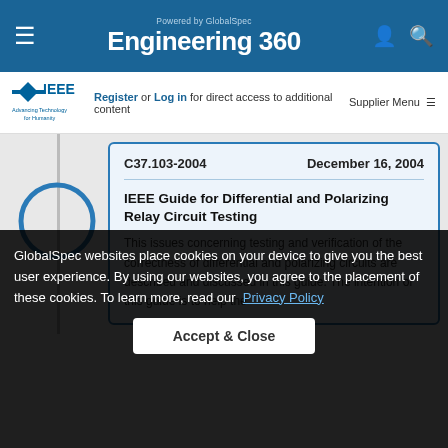Powered by GlobalSpec — Engineering 360
[Figure (logo): IEEE Advancing Technology for Humanity logo]
Register or Log in for direct access to additional content
Supplier Menu
C37.103-2004   December 16, 2004
IEEE Guide for Differential and Polarizing Relay Circuit Testing
This issues concerning testing and verification of the correctness of differential and polarizing circuits are described and discussed in this guide. The intention of this guide is to help the
GlobalSpec websites place cookies on your device to give you the best user experience. By using our websites, you agree to the placement of these cookies. To learn more, read our  Privacy Policy
Accept & Close